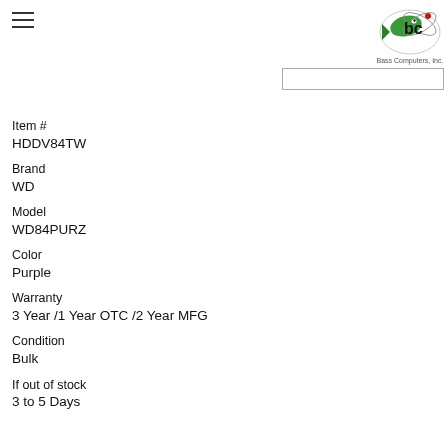[Figure (logo): Bass Computers, Inc. logo with fish and circular design]
Item #
HDDV84TW
Brand
WD
Model
WD84PURZ
Color
Purple
Warranty
3 Year /1 Year OTC /2 Year MFG
Condition
Bulk
If out of stock
3 to 5 Days